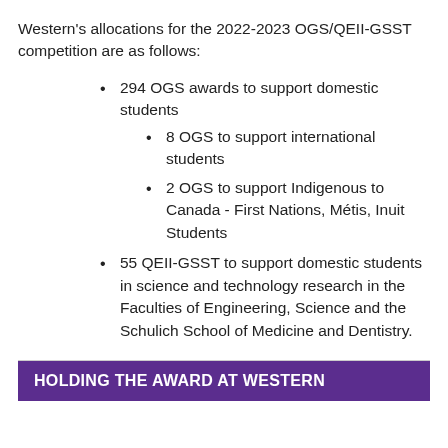Western's allocations for the 2022-2023 OGS/QEII-GSST competition are as follows:
294 OGS awards to support domestic students
8 OGS to support international students
2 OGS to support Indigenous to Canada - First Nations, Métis, Inuit Students
55 QEII-GSST to support domestic students in science and technology research in the Faculties of Engineering, Science and the Schulich School of Medicine and Dentistry.
HOLDING THE AWARD AT WESTERN